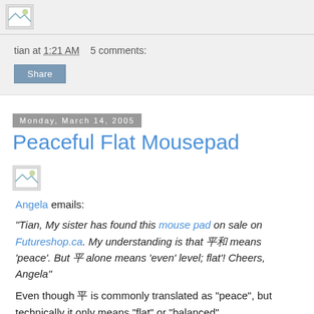[Figure (photo): Broken image thumbnail at top]
tian at 1:21 AM    5 comments:
Share
Monday, March 14, 2005
Peaceful Flat Mousepad
[Figure (photo): Broken image thumbnail in post body]
Angela emails:
"Tian, My sister has found this mouse pad on sale on Futureshop.ca. My understanding is that 平和 means 'peace'. But 平 alone means 'even' level; flat'! Cheers, Angela"
Even though 平 is commonly translated as "peace", but technically it only means "flat" or "balanced".